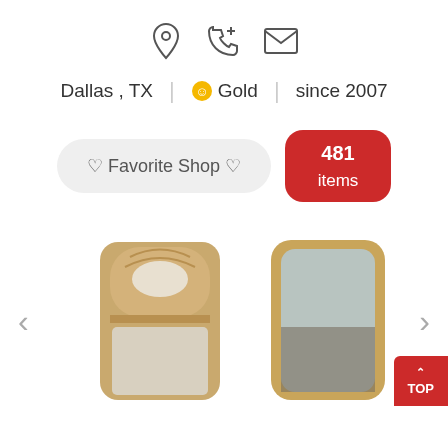[Figure (infographic): Three icons: location pin, phone with plus, envelope/mail]
Dallas , TX  |  🌟 Gold  |  since 2007
♡ Favorite Shop ♡  481 items